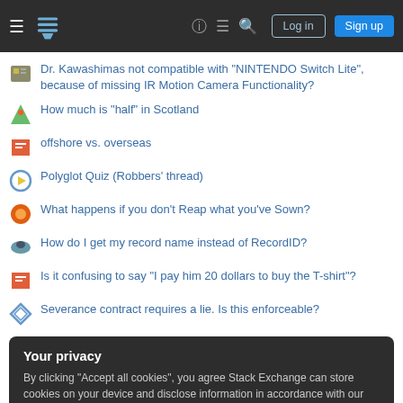Stack Exchange navigation bar with Log in and Sign up buttons
Dr. Kawashimas not compatible with "NINTENDO Switch Lite", because of missing IR Motion Camera Functionality?
How much is "half" in Scotland
offshore vs. overseas
Polyglot Quiz (Robbers' thread)
What happens if you don't Reap what you've Sown?
How do I get my record name instead of RecordID?
Is it confusing to say "I pay him 20 dollars to buy the T-shirt"?
Severance contract requires a lie. Is this enforceable?
Your privacy
By clicking "Accept all cookies", you agree Stack Exchange can store cookies on your device and disclose information in accordance with our Cookie Policy.
Accept all cookies | Customize settings